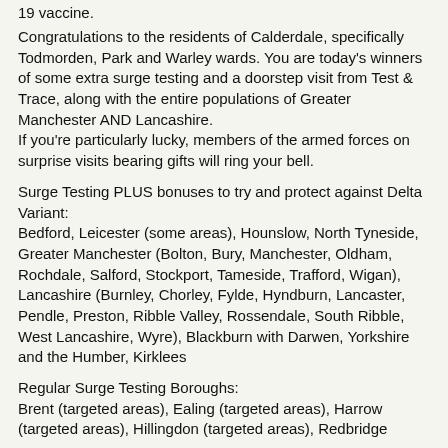19 vaccine.
Congratulations to the residents of Calderdale, specifically Todmorden, Park and Warley wards. You are today’s winners of some extra surge testing and a doorstep visit from Test & Trace, along with the entire populations of Greater Manchester AND Lancashire.
If you're particularly lucky, members of the armed forces on surprise visits bearing gifts will ring your bell.
Surge Testing PLUS bonuses to try and protect against Delta Variant:
Bedford, Leicester (some areas), Hounslow, North Tyneside, Greater Manchester (Bolton, Bury, Manchester, Oldham, Rochdale, Salford, Stockport, Tameside, Trafford, Wigan), Lancashire (Burnley, Chorley, Fylde, Hyndburn, Lancaster, Pendle, Preston, Ribble Valley, Rossendale, South Ribble, West Lancashire, Wyre), Blackburn with Darwen, Yorkshire and the Humber, Kirklees
Regular Surge Testing Boroughs:
Brent (targeted areas), Ealing (targeted areas), Harrow (targeted areas), Hillingdon (targeted areas), Redbridge